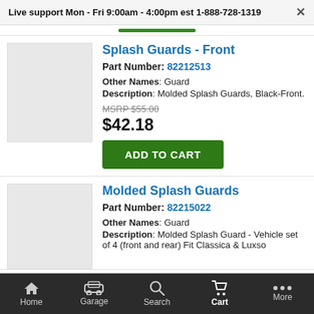Live support Mon - Fri 9:00am - 4:00pm est 1-888-728-1319
Splash Guards - Front
Part Number: 82212513
Other Names: Guard
Description: Molded Splash Guards, Black- Front.
MSRP $55.00
$42.18
Molded Splash Guards
Part Number: 82215022
Other Names: Guard
Description: Molded Splash Guard - Vehicle set of 4 (front and rear) Fit Classica & Luxso
Home  Garage  Search  Cart  More